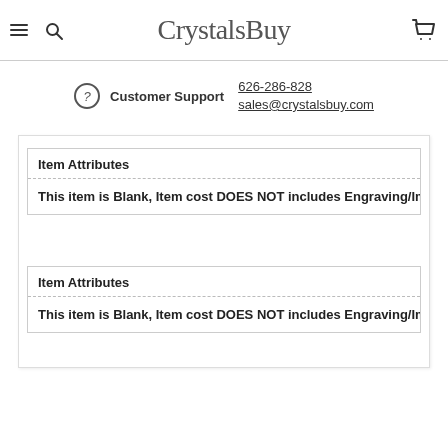CrystalsBuy
Customer Support 626-286-828 sales@crystalsbuy.com
Item Attributes
This item is Blank, Item cost DOES NOT includes Engraving/Im
Item Attributes
This item is Blank, Item cost DOES NOT includes Engraving/Im